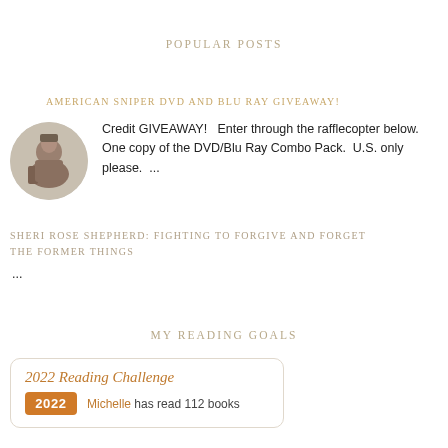POPULAR POSTS
AMERICAN SNIPER DVD AND BLU RAY GIVEAWAY!
Credit GIVEAWAY!   Enter through the rafflecopter below. One copy of the DVD/Blu Ray Combo Pack.  U.S. only please.  ...
SHERI ROSE SHEPHERD: FIGHTING TO FORGIVE AND FORGET THE FORMER THINGS
...
MY READING GOALS
2022 Reading Challenge
Michelle has read 112 books